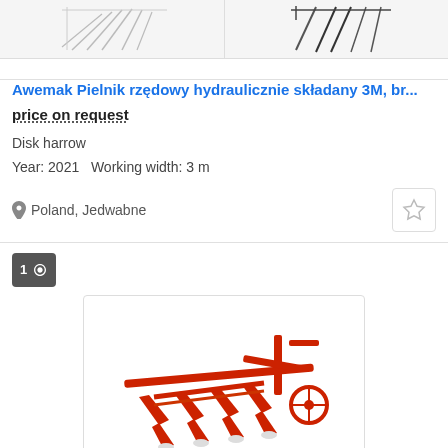[Figure (photo): Two product images of farm equipment harrows shown side by side at top of page]
Awemak Pielnik rzędowy hydraulicznie składany 3M, br...
price on request
Disk harrow
Year: 2021   Working width: 3 m
Poland, Jedwabne
[Figure (photo): Red plow/arado farm implement - Awemak Ramzes model, shown on white background]
Awemak Ramzes / Arado
price on request